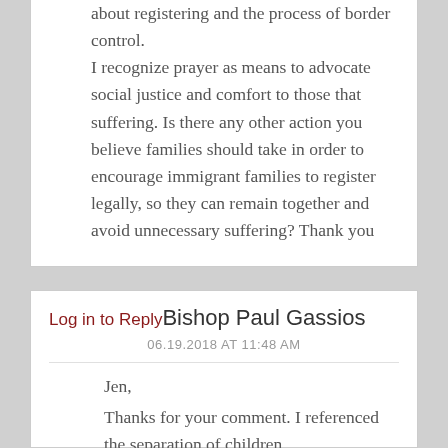about registering and the process of border control.
I recognize prayer as means to advocate social justice and comfort to those that suffering. Is there any other action you believe families should take in order to encourage immigrant families to register legally, so they can remain together and avoid unnecessary suffering? Thank you
Log in to Reply Bishop Paul Gassios
06.19.2018 AT 11:48 AM
Jen,
Thanks for your comment. I referenced the separation of children